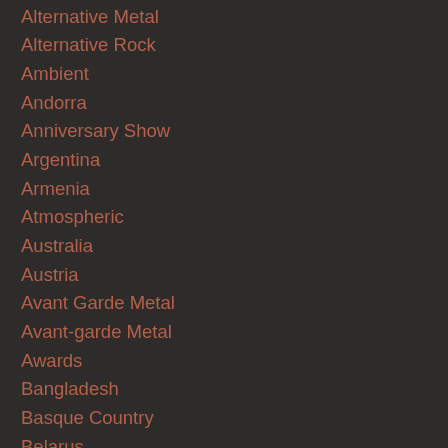Alternative Metal
Alternative Rock
Ambient
Andorra
Anniversary Show
Argentina
Armenia
Atmospheric
Australia
Austria
Avant Garde Metal
Avant-garde Metal
Awards
Bangladesh
Basque Country
Belarus
Belgium
Black Metal
Bloodstock Open Air
Bolivia
Bosnia Herzegovina